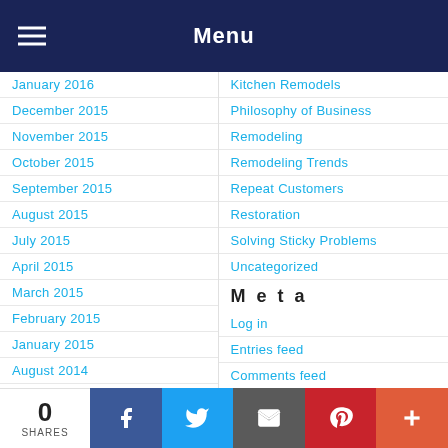Menu
January 2016
December 2015
November 2015
October 2015
September 2015
August 2015
July 2015
April 2015
March 2015
February 2015
January 2015
August 2014
July 2014
June 2014
Kitchen Remodels
Philosophy of Business
Remodeling
Remodeling Trends
Repeat Customers
Restoration
Solving Sticky Problems
Uncategorized
Meta
Log in
Entries feed
Comments feed
WordPress.org
0 SHARES